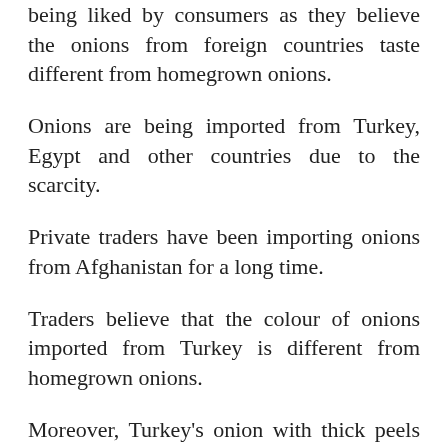being liked by consumers as they believe the onions from foreign countries taste different from homegrown onions.
Onions are being imported from Turkey, Egypt and other countries due to the scarcity.
Private traders have been importing onions from Afghanistan for a long time.
Traders believe that the colour of onions imported from Turkey is different from homegrown onions.
Moreover, Turkey's onion with thick peels is not being liked by the customers, as they